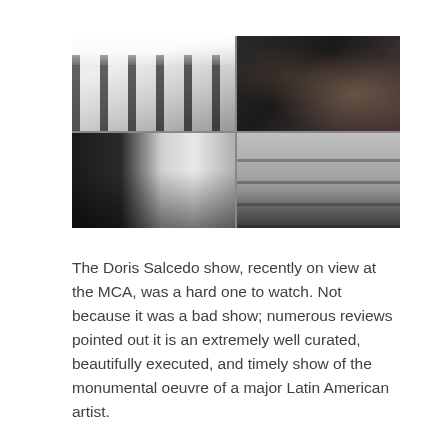[Figure (photo): A 2x2 photo mosaic showing scenes from the Doris Salcedo exhibition at the MCA. Top-left: bright gallery space with tall dark sculptural forms. Top-right: dark crowd scene with people viewing artwork. Bottom-left: person closely examining a work. Bottom-right: gallery with horizontal sculptural shelving or table-like forms.]
The Doris Salcedo show, recently on view at the MCA, was a hard one to watch. Not because it was a bad show; numerous reviews pointed out it is an extremely well curated, beautifully executed, and timely show of the monumental oeuvre of a major Latin American artist.